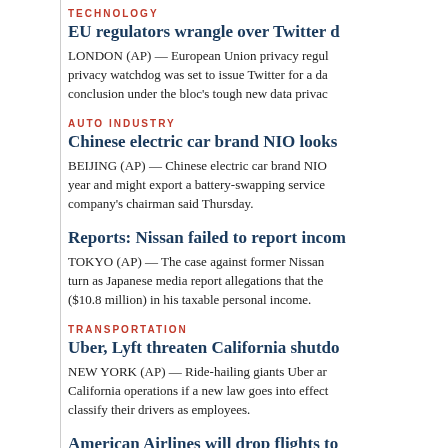TECHNOLOGY
EU regulators wrangle over Twitter d...
LONDON (AP) — European Union privacy regu... privacy watchdog was set to issue Twitter for a da... conclusion under the bloc's tough new data privac...
AUTO INDUSTRY
Chinese electric car brand NIO looks...
BEIJING (AP) — Chinese electric car brand NIO... year and might export a battery-swapping service... company's chairman said Thursday.
Reports: Nissan failed to report incom...
TOKYO (AP) — The case against former Nissan... turn as Japanese media report allegations that the... ($10.8 million) in his taxable personal income.
TRANSPORTATION
Uber, Lyft threaten California shutdo...
NEW YORK (AP) — Ride-hailing giants Uber ar... California operations if a new law goes into effect... classify their drivers as employees.
American Airlines will drop flights to...
American Airlines will drop flights to 15 smaller ...